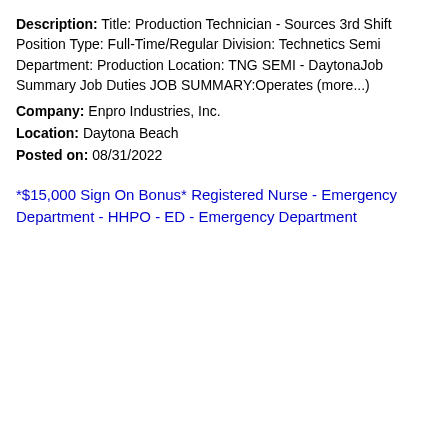Description: Title: Production Technician - Sources 3rd Shift Position Type: Full-Time/Regular Division: Technetics Semi Department: Production Location: TNG SEMI - DaytonaJob Summary Job Duties JOB SUMMARY:Operates (more...)
Company: Enpro Industries, Inc.
Location: Daytona Beach
Posted on: 08/31/2022
*$15,000 Sign On Bonus* Registered Nurse - Emergency Department - HHPO - ED - Emergency Department